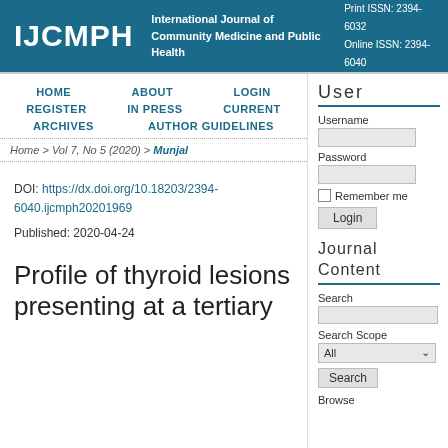IJCMPH | International Journal of Community Medicine and Public Health | Print ISSN: 2394-6032 | Online ISSN: 2394-6040
HOME  ABOUT  LOGIN  REGISTER  IN PRESS  CURRENT  ARCHIVES  AUTHOR GUIDELINES
Home > Vol 7, No 5 (2020) > Munjal
DOI: https://dx.doi.org/10.18203/2394-6040.ijcmph20201969
Published: 2020-04-24
Profile of thyroid lesions presenting at a tertiary
User
Username
Password
Remember me
Login
Journal Content
Search
Search Scope
All
Search
Browse